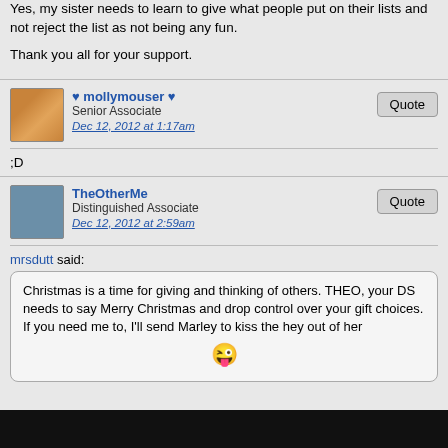Yes, my sister needs to learn to give what people put on their lists and not reject the list as not being any fun.
Thank you all for your support.
mollymouser — Senior Associate — Dec 12, 2012 at 1:17am
;D
TheOtherMe — Distinguished Associate — Dec 12, 2012 at 2:59am
mrsdutt said: Christmas is a time for giving and thinking of others. THEO, your DS needs to say Merry Christmas and drop control over your gift choices. If you need me to, I'll send Marley to kiss the hey out of her